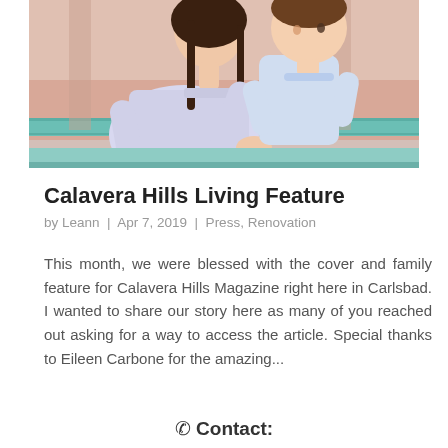[Figure (photo): A woman holding a toddler boy, both wearing light blue/white clothing, photographed outdoors near a pink-tiled wall with teal pool tiles visible in background.]
Calavera Hills Living Feature
by Leann  |  Apr 7, 2019  |  Press, Renovation
This month, we were blessed with the cover and family feature for Calavera Hills Magazine right here in Carlsbad. I wanted to share our story here as many of you reached out asking for a way to access the article. Special thanks to Eileen Carbone for the amazing...
☎ Contact: